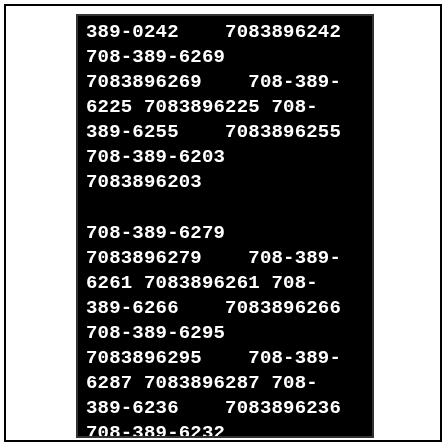389-0242 7083896242 708-389-6269 7083896269 708-389-6225 7083896225 708-389-6255 7083896255 708-389-6203 7083896203 708-389-6279 7083896279 708-389-6261 7083896261 708-389-6266 7083896266 708-389-6295 7083896295 708-389-6287 7083896287 708-389-6236 7083896236 708-389-6232 7083896232 708-389-6247 7083896247 708-389-6296 7083896296